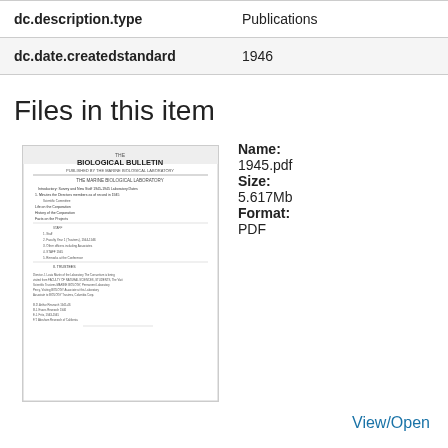| Field | Value |
| --- | --- |
| dc.description.type | Publications |
| dc.date.createdstandard | 1946 |
Files in this item
[Figure (photo): Thumbnail of a document titled 'Biological Bulletin']
Name: 1945.pdf
Size: 5.617Mb
Format: PDF
View/Open
This item appears in the following